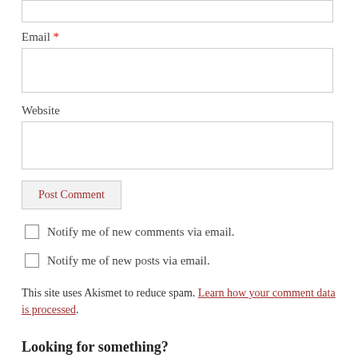Email *
Website
Post Comment
Notify me of new comments via email.
Notify me of new posts via email.
This site uses Akismet to reduce spam. Learn how your comment data is processed.
Looking for something?
Specifically...